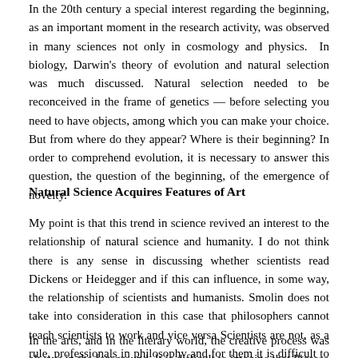In the 20th century a special interest regarding the beginning, as an important moment in the research activity, was observed in many sciences not only in cosmology and physics. In biology, Darwin's theory of evolution and natural selection was much discussed. Natural selection needed to be reconceived in the frame of genetics — before selecting you need to have objects, among which you can make your choice. But from where do they appear? Where is their beginning? In order to comprehend evolution, it is necessary to answer this question, the question of the beginning, of the emergence of novelty.
Natural Science Acquires Features of Art
My point is that this trend in science revived an interest to the relationship of natural science and humanity. I do not think there is any sense in discussing whether scientists read Dickens or Heidegger and if this can influence, in some way, the relationship of scientists and humanists. Smolin does not take into consideration in this case that philosophers cannot teach scientists to work and vice versa Scientists are not, as a rule, professionals in philosophy and for them it is difficult to comprehend philosophical topics.
In the arts, and in the literary world, the creative process was always in the foreground. It is difficult to imagine that Picasso became the great artist...